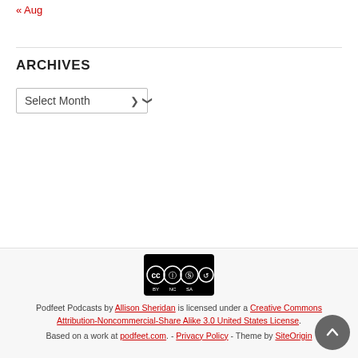« Aug
ARCHIVES
Select Month
Podfeet Podcasts by Allison Sheridan is licensed under a Creative Commons Attribution-Noncommercial-Share Alike 3.0 United States License. Based on a work at podfeet.com. - Privacy Policy - Theme by SiteOrigin